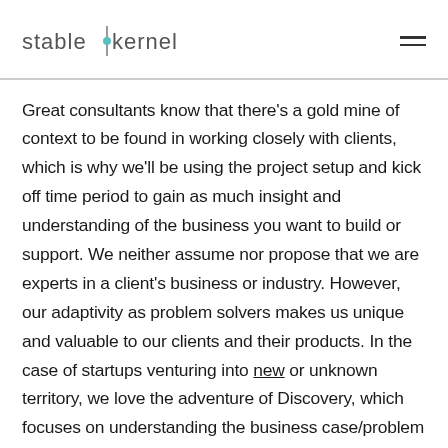stable kernel
Great consultants know that there's a gold mine of context to be found in working closely with clients, which is why we'll be using the project setup and kick off time period to gain as much insight and understanding of the business you want to build or support. We neither assume nor propose that we are experts in a client's business or industry. However, our adaptivity as problem solvers makes us unique and valuable to our clients and their products. In the case of startups venturing into new or unknown territory, we love the adventure of Discovery, which focuses on understanding the business case/problem to solve…